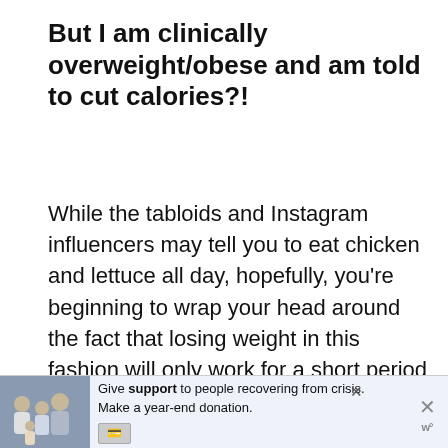But I am clinically overweight/obese and am told to cut calories?!
While the tabloids and Instagram influencers may tell you to eat chicken and lettuce all day, hopefully, you're beginning to wrap your head around the fact that losing weight in this fashion will only work for a short period of time. Continuing to eat significantly low calories will move you
[Figure (other): Advertisement banner with a photo of a family and text: 'Give support to people recovering from crisis. Make a year-end donation.' with a donate button and close icons.]